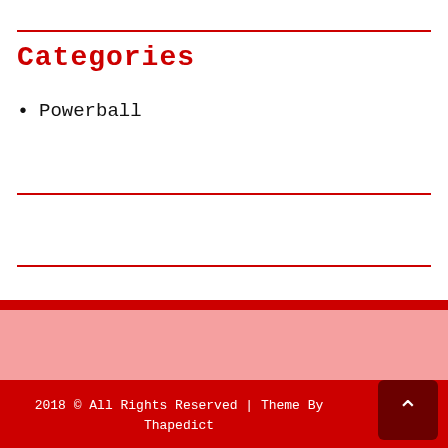Categories
Powerball
2018 © All Rights Reserved | Theme By Thapedict